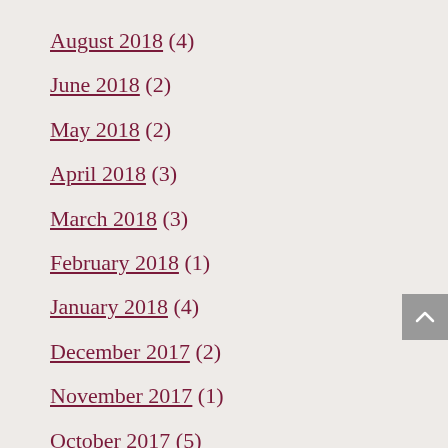August 2018 (4)
June 2018 (2)
May 2018 (2)
April 2018 (3)
March 2018 (3)
February 2018 (1)
January 2018 (4)
December 2017 (2)
November 2017 (1)
October 2017 (5)
September 2017 (1)